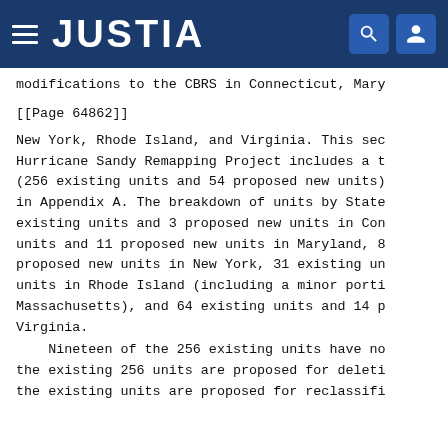JUSTIA
modifications to the CBRS in Connecticut, Mary
[[Page 64862]]
New York, Rhode Island, and Virginia. This sec Hurricane Sandy Remapping Project includes a t (256 existing units and 54 proposed new units) in Appendix A. The breakdown of units by State existing units and 3 proposed new units in Con units and 11 proposed new units in Maryland, 8 proposed new units in New York, 31 existing un units in Rhode Island (including a minor porti Massachusetts), and 64 existing units and 14 p Virginia.
Nineteen of the 256 existing units have no the existing 256 units are proposed for deleti the existing units are proposed for reclassifi